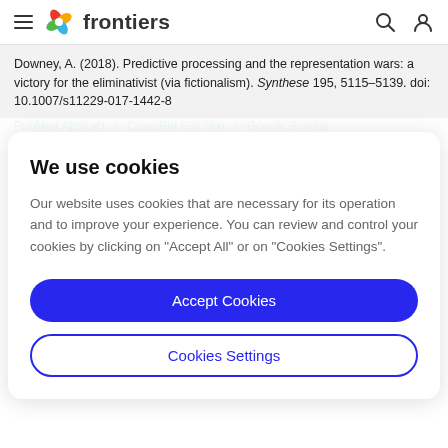frontiers
Downey, A. (2018). Predictive processing and the representation wars: a victory for the eliminativist (via fictionalism). Synthese 195, 5115–5139. doi: 10.1007/s11229-017-1442-8
PubMed Abstract | CrossRef Full Text | Google Scholar
We use cookies
Our website uses cookies that are necessary for its operation and to improve your experience. You can review and control your cookies by clicking on "Accept All" or on "Cookies Settings".
Accept Cookies
Cookies Settings